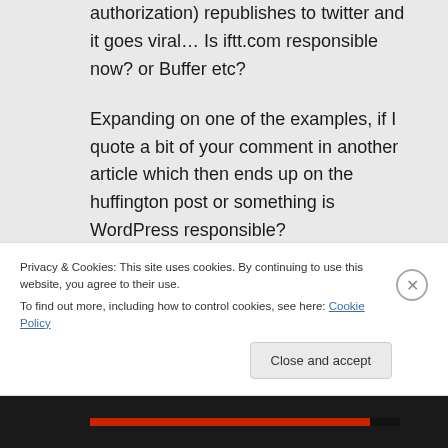authorization) republishes to twitter and it goes viral… Is iftt.com responsible now? or Buffer etc?
Expanding on one of the examples, if I quote a bit of your comment in another article which then ends up on the huffington post or something is WordPress responsible?
Seems a bit nuts but with the wrong legal language things can go very bad very
Privacy & Cookies: This site uses cookies. By continuing to use this website, you agree to their use.
To find out more, including how to control cookies, see here: Cookie Policy